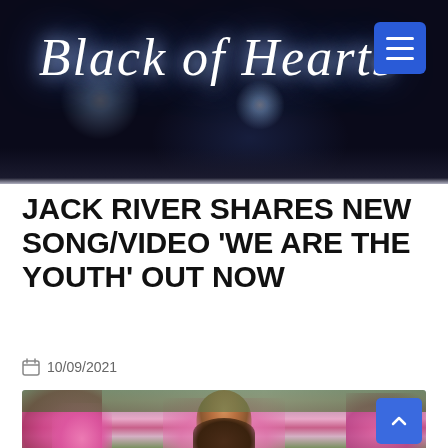[Figure (logo): Black of Hearts website logo in cursive/script white text on dark navy/black background with star light effects and a blue hamburger menu button in top right corner]
JACK RIVER SHARES NEW SONG/VIDEO 'WE ARE THE YOUTH' OUT NOW
10/09/2021
[Figure (photo): Young woman holding a pink flower to her lips, surrounded by pink blooming flowers and green trees in the background, outdoor daylight photo]